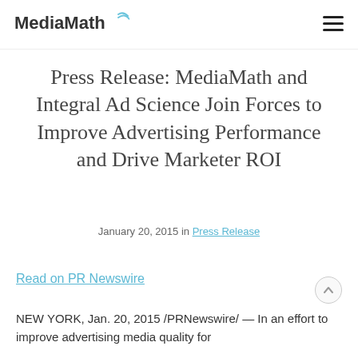MediaMath
Press Release: MediaMath and Integral Ad Science Join Forces to Improve Advertising Performance and Drive Marketer ROI
January 20, 2015 in Press Release
Read on PR Newswire
NEW YORK, Jan. 20, 2015 /PRNewswire/ — In an effort to improve advertising media quality for